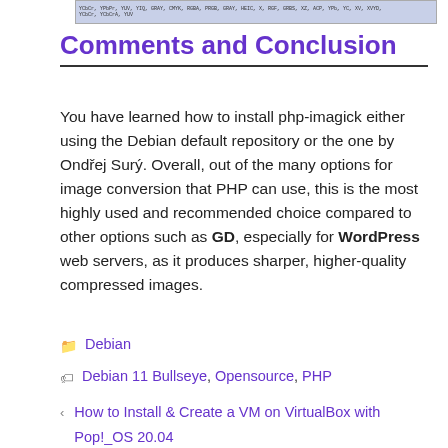[Figure (screenshot): Partial screenshot of code or terminal output with light blue/grey background showing text content]
Comments and Conclusion
You have learned how to install php-imagick either using the Debian default repository or the one by Ondřej Surý. Overall, out of the many options for image conversion that PHP can use, this is the most highly used and recommended choice compared to other options such as GD, especially for WordPress web servers, as it produces sharper, higher-quality compressed images.
Debian
Debian 11 Bullseye, Opensource, PHP
How to Install & Create a VM on VirtualBox with Pop!_OS 20.04
How to Install Zoom Client on Ubuntu 20.04